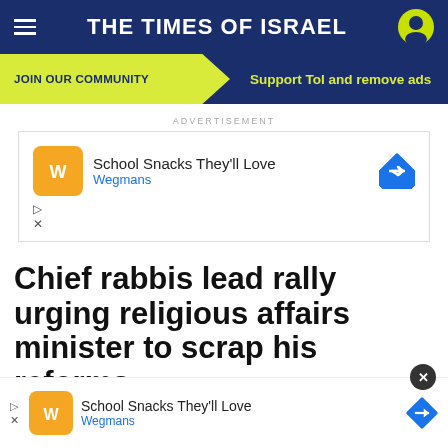THE TIMES OF ISRAEL
JOIN OUR COMMUNITY   Support ToI and remove ads
ADVERTISEMENT
[Figure (other): Wegmans ad: School Snacks They'll Love, with Wegmans logo and navigation arrow]
Chief rabbis lead rally urging religious affairs minister to scrap his reforms
Country... Matan... ust be under...
[Figure (other): Wegmans overlay ad: School Snacks They'll Love]